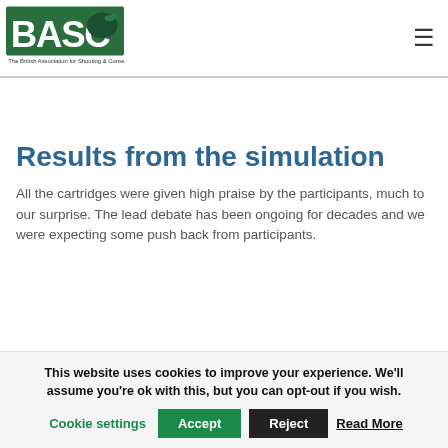[Figure (logo): BASC logo — The British Association for Shooting & Conservation, green background with dog/duck graphic]
Results from the simulation
All the cartridges were given high praise by the participants, much to our surprise. The lead debate has been ongoing for decades and we were expecting some push back from participants.
This website uses cookies to improve your experience. We'll assume you're ok with this, but you can opt-out if you wish.
Cookie settings  Accept  Reject  Read More